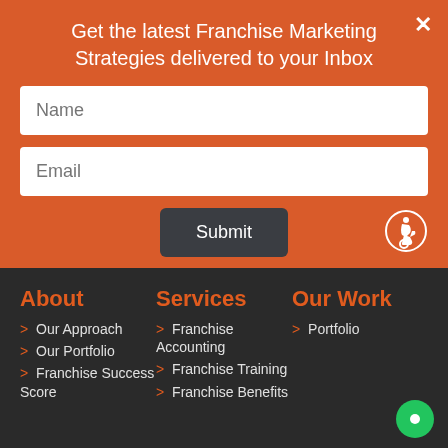Get the latest Franchise Marketing Strategies delivered to your Inbox
Name
Email
Submit
About
Services
Our Work
> Our Approach
> Our Portfolio
> Franchise Success Score
> Franchise Accounting
> Franchise Training
> Franchise Benefits
> Portfolio